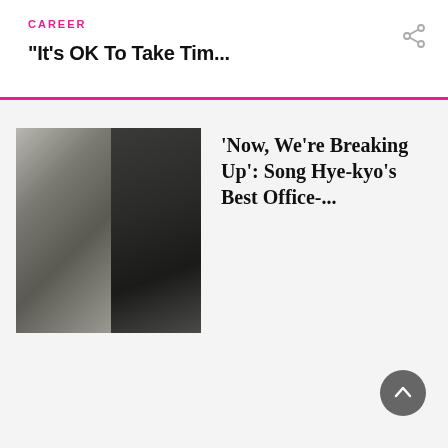CAREER
“It’s OK To Take Tim...
[Figure (photo): Two photos side by side of Song Hye-kyo in a dark blazer outfit. Left photo shows full body standing in a minimalist interior. Right photo is a close-up of her face in profile.]
'Now, We're Breaking Up': Song Hye-kyo's Best Office-...